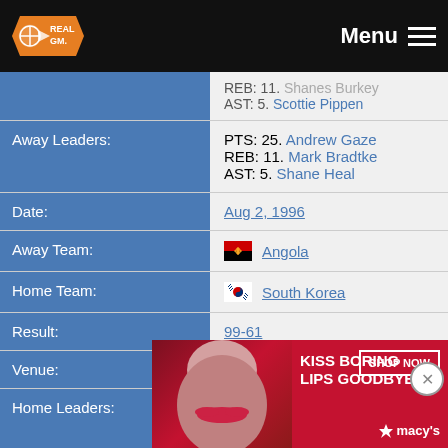RealGM — Menu
REB: 11. Shanes Burkey
AST: 5. Scottie Pippen
Away Leaders:
PTS: 25. Andrew Gaze
REB: 11. Mark Bradtke
AST: 5. Shane Heal
Date: Aug 2, 1996
Away Team: Angola
Home Team: South Korea
Result: 99-61
Venue: Forbes Arena
Home Leaders:
PTS: 17. Dong-Hee Kang
REB: 5. Hee-Chul Chun
AST: 6. Sang-Min Lee
[Figure (photo): Macy's advertisement banner: KISS BORING LIPS GOODBYE — SHOP NOW — macy's logo with star]
Away Leaders: (partially visible)